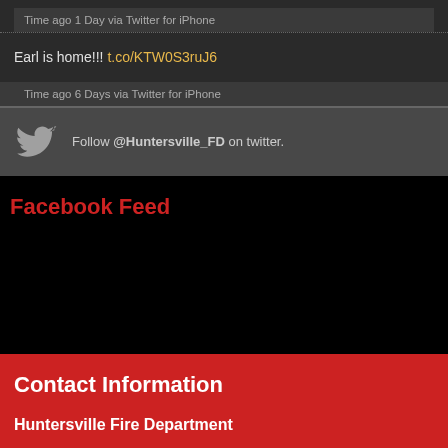Earl is home!!! t.co/KTW0S3ruJ6
Time ago 1 Day via Twitter for iPhone
Earl is home!!! t.co/KTW0S3ruJ6
Time ago 6 Days via Twitter for iPhone
Follow @Huntersville_FD on twitter.
Facebook Feed
Contact Information
Huntersville Fire Department